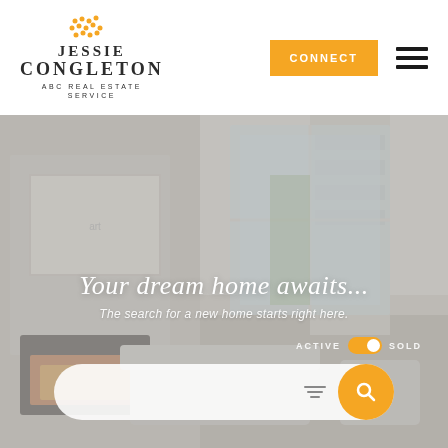[Figure (logo): Jessie Congleton ABC Real Estate Service logo with orange dot grid above the name]
CONNECT
[Figure (illustration): Modern living room interior with stone fireplace, bookshelves, large windows, and natural light — hero background image]
Your dream home awaits...
The search for a new home starts right here.
ACTIVE   SOLD
[Figure (other): Search bar with filter icon and orange search button]